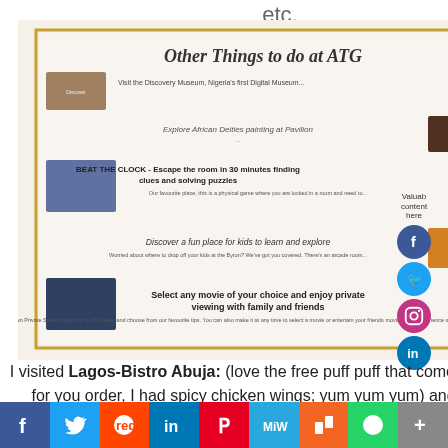etc.
[Figure (photo): A brochure/leaflet showing 'Other Things to do at ATG' with sections about Discovery Museum, Beat The Clock escape room, kids learning area, and private movie screening, placed on a spiral notebook.]
I visited Lagos-Bistro Abuja: (love the free puff puff that comes while waiting for you order, I had spicy chicken wings; yum yum yum)
and Discovery museum: where there where various rooms both on the ground floor and first floor and
[Figure (infographic): Right sidebar with 'Valuable content here' text and circular social media icons (Facebook, Twitter, Instagram, LinkedIn)]
Facebook  Twitter  Reddit  LinkedIn  Pinterest  MeWe  Mix  WhatsApp  More